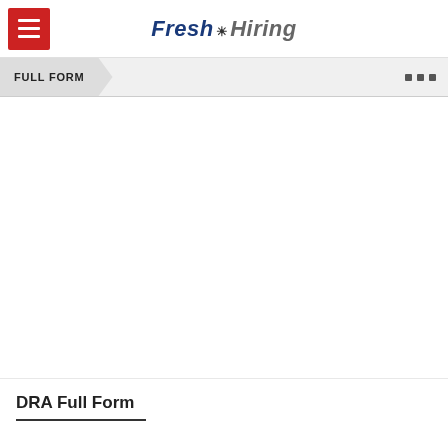Fresh Hiring
FULL FORM
DRA Full Form